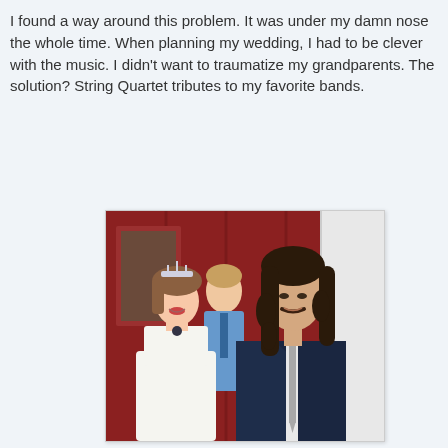I found a way around this problem. It was under my damn nose the whole time. When planning my wedding, I had to be clever with the music. I didn't want to traumatize my grandparents. The solution? String Quartet tributes to my favorite bands.
[Figure (photo): A wedding photo showing a bride wearing a tiara and white dress and a groom with long curly dark hair wearing a dark navy suit with a light grey tie, smiling. A man in a light blue shirt and tie is visible in the background. The backdrop is a red barn wall.]